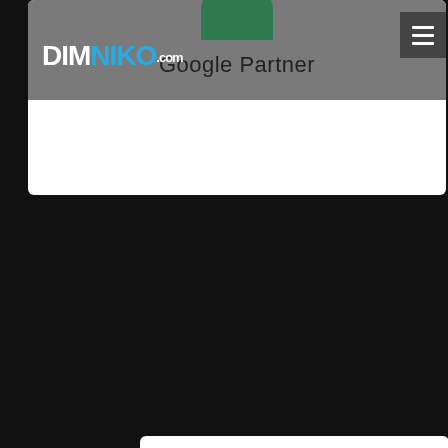[Figure (logo): DIMNIKO.com website header with Google Partner badge and hamburger menu button on grey background]
[Figure (logo): Meta Business Partner logo on white card background with Meta infinity symbol in blue and Meta wordmark in dark navy]